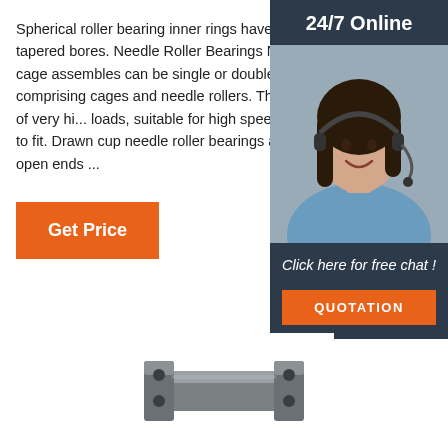Spherical roller bearing inner rings have cylindrical or tapered bores. Needle Roller Bearings Needle roller cage assembles can be single or double row units comprising cages and needle rollers. They are capable of very hi... loads, suitable for high speeds and are ve... to fit. Drawn cup needle roller bearings are available with open ends ...
[Figure (other): Get Price orange button]
[Figure (photo): 24/7 Online chat widget with a woman wearing a headset, dark background, with 'Click here for free chat!' text and orange QUOTATION button]
[Figure (photo): Metal needle roller bearing hardware component shown at bottom of page]